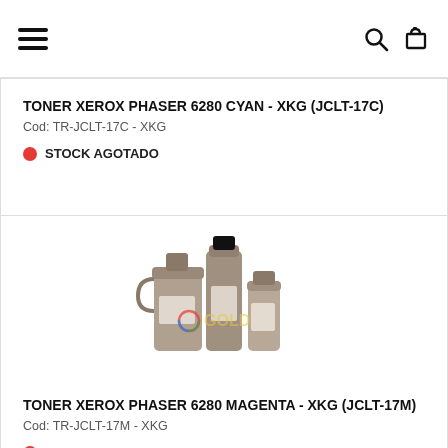Navigation bar with hamburger menu, search and cart icons
TONER XEROX PHASER 6280 CYAN - XKG (JCLT-17C)
Cod: TR-JCLT-17C - XKG
STOCK AGOTADO
[Figure (photo): Photo of toner powder bottles/containers of different sizes with a GOLD logo watermark]
TONER XEROX PHASER 6280 MAGENTA - XKG (JCLT-17M)
Cod: TR-JCLT-17M - XKG
STOCK AGOTADO